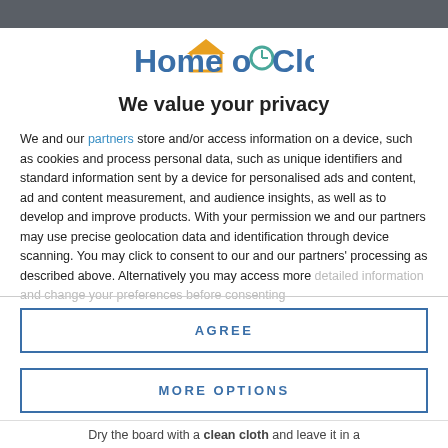[Figure (logo): Home o'Clock logo with orange house roof icon and teal clock face replacing the letter O]
We value your privacy
We and our partners store and/or access information on a device, such as cookies and process personal data, such as unique identifiers and standard information sent by a device for personalised ads and content, ad and content measurement, and audience insights, as well as to develop and improve products. With your permission we and our partners may use precise geolocation data and identification through device scanning. You may click to consent to our and our partners' processing as described above. Alternatively you may access more detailed information and change your preferences before consenting
AGREE
MORE OPTIONS
Dry the board with a clean cloth and leave it in a